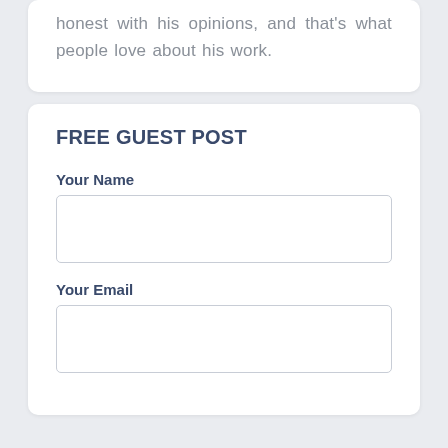honest with his opinions, and that's what people love about his work.
FREE GUEST POST
Your Name
Your Email